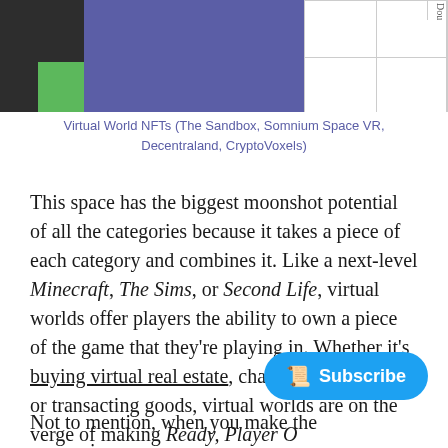[Figure (screenshot): Partial screenshot of virtual world NFT map views showing colored grid blocks in blue, green, gray on left and white grid/table view on right with partial text 'Dou' visible]
Virtual World NFTs (The Sandbox, Somnium Space VR, Decentraland, CryptoVoxels)
This space has the biggest moonshot potential of all the categories because it takes a piece of each category and combines it. Like a next-level Minecraft, The Sims, or Second Life, virtual worlds offer players the ability to own a piece of the game that they're playing in. Whether it's buying virtual real estate, character accessories, or transacting goods, virtual worlds are on the verge of making Ready, Player O
Not to mention, when you make the comparisons